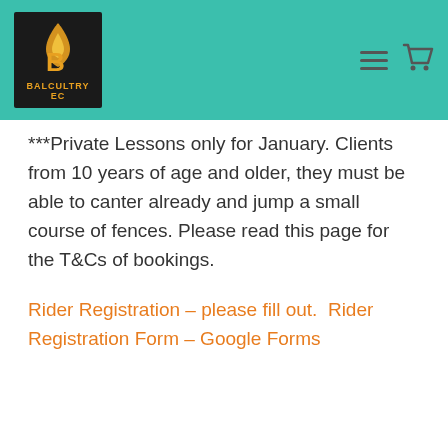Balcultry EC
***Private Lessons only for January. Clients from 10 years of age and older, they must be able to canter already and jump a small course of fences. Please read this page for the T&Cs of bookings.
Rider Registration – please fill out.  Rider Registration Form – Google Forms